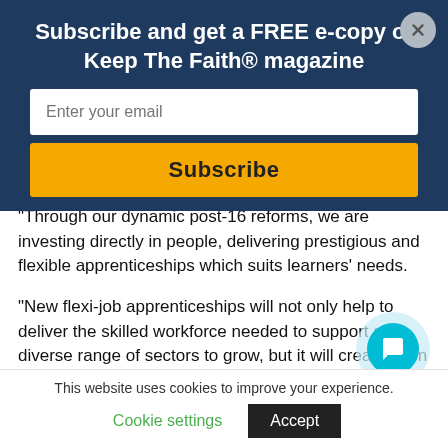Subscribe and get a FREE e-copy of Keep The Faith® magazine
Enter your email
Subscribe
“Through our dynamic post-16 reforms, we are investing directly in people, delivering prestigious and flexible apprenticeships which suits learners’ needs.
“New flexi-job apprenticeships will not only help to deliver the skilled workforce needed to support a diverse range of sectors to grow, but it will create even more exciting opportunities for people to secure a great career.”
This website uses cookies to improve your experience.
Cookie settings
Accept